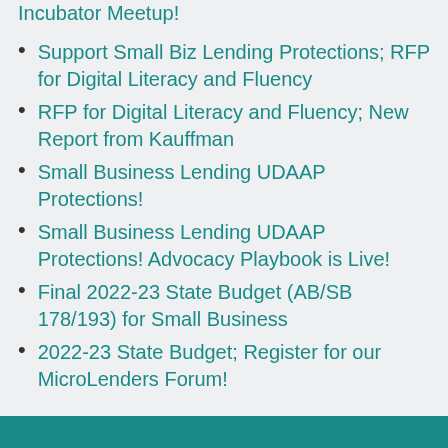Support Small Biz Lending Protections; RFP for Digital Literacy and Fluency
RFP for Digital Literacy and Fluency; New Report from Kauffman
Small Business Lending UDAAP Protections!
Small Business Lending UDAAP Protections! Advocacy Playbook is Live!
Final 2022-23 State Budget (AB/SB 178/193) for Small Business
2022-23 State Budget; Register for our MicroLenders Forum!
Archives